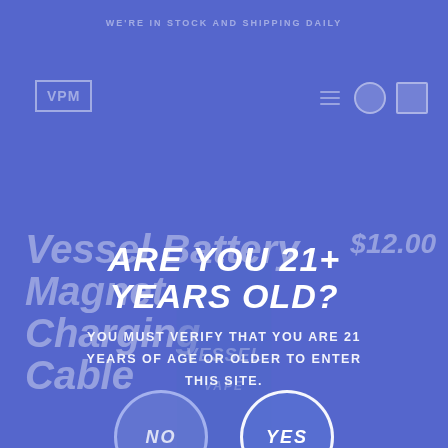WE'RE IN STOCK AND SHIPPING DAILY
[Figure (screenshot): Website screenshot background showing VPM logo, navigation icons, product title 'Vessel Battery Magnet Charging Cable' with price $12.00, partially visible]
ARE YOU 21+ YEARS OLD?
YOU MUST VERIFY THAT YOU ARE 21 YEARS OF AGE OR OLDER TO ENTER THIS SITE.
NO   YES